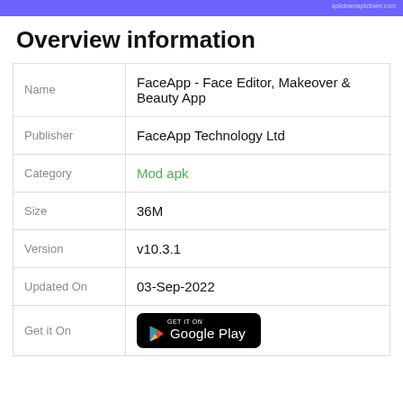apkdownapkdown.com
Overview information
| Label | Value |
| --- | --- |
| Name | FaceApp - Face Editor, Makeover & Beauty App |
| Publisher | FaceApp Technology Ltd |
| Category | Mod apk |
| Size | 36M |
| Version | v10.3.1 |
| Updated On | 03-Sep-2022 |
| Get it On | GET IT ON Google Play |